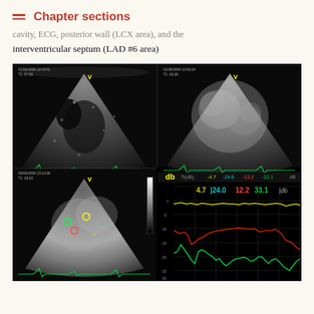Chapter sections
cavity, ECG, posterior wall (LCX area), and the interventricular septum (LAD #6 area)
[Figure (photo): Echocardiography composite image showing four panels: top-left and top-right show standard echocardiographic views (B-mode ultrasound of heart chambers), bottom-left shows a contrast echocardiography view with colored region-of-interest markers, bottom-right shows a time-intensity curve graph with yellow, red, and green traces labeled with dB values 4.7, 24.0, 12.2, 33.1 db]